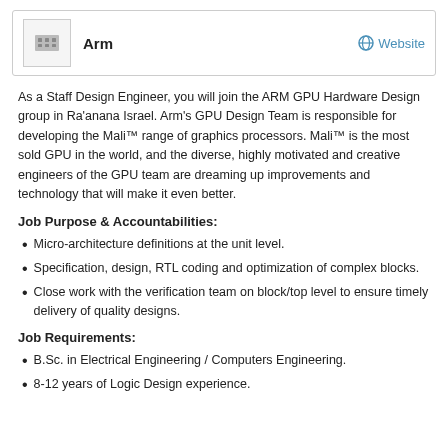Arm | Website
As a Staff Design Engineer, you will join the ARM GPU Hardware Design group in Ra'anana Israel. Arm's GPU Design Team is responsible for developing the Mali™ range of graphics processors. Mali™ is the most sold GPU in the world, and the diverse, highly motivated and creative engineers of the GPU team are dreaming up improvements and technology that will make it even better.
Job Purpose & Accountabilities:
Micro-architecture definitions at the unit level.
Specification, design, RTL coding and optimization of complex blocks.
Close work with the verification team on block/top level to ensure timely delivery of quality designs.
Job Requirements:
B.Sc. in Electrical Engineering / Computers Engineering.
8-12 years of Logic Design experience.